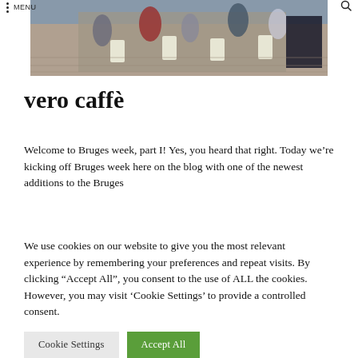MENU
[Figure (photo): Outdoor café scene with people sitting at white folding chairs and tables on a brick pavement, photographed from street level.]
vero caffè
Welcome to Bruges week, part I! Yes, you heard that right. Today we're kicking off Bruges week here on the blog with one of the newest additions to the Bruges
We use cookies on our website to give you the most relevant experience by remembering your preferences and repeat visits. By clicking "Accept All", you consent to the use of ALL the cookies. However, you may visit 'Cookie Settings' to provide a controlled consent.
Cookie Settings    Accept All